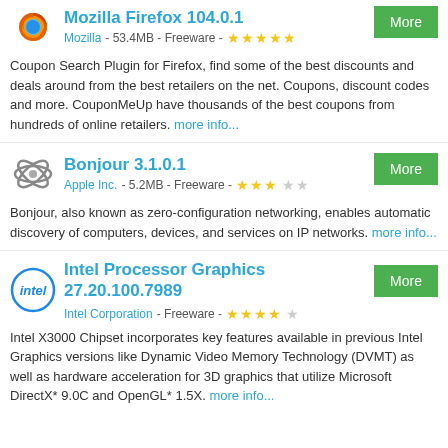Mozilla Firefox 104.0.1 — Mozilla - 53.4MB - Freeware - ★★★★★ — Coupon Search Plugin for Firefox, find some of the best discounts and deals around from the best retailers on the net. Coupons, discount codes and more. CouponMeUp have thousands of the best coupons from hundreds of online retailers. more info...
Bonjour 3.1.0.1 — Apple Inc. - 5.2MB - Freeware - ★★★ — Bonjour, also known as zero-configuration networking, enables automatic discovery of computers, devices, and services on IP networks. more info...
Intel Processor Graphics 27.20.100.7989 — Intel Corporation - Freeware - ★★★★ — Intel X3000 Chipset incorporates key features available in previous Intel Graphics versions like Dynamic Video Memory Technology (DVMT) as well as hardware acceleration for 3D graphics that utilize Microsoft DirectX* 9.0C and OpenGL* 1.5X. more info...